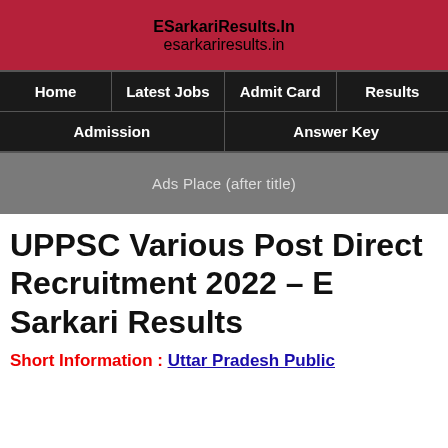ESarkariResults.In
esarkariresults.in
[Figure (screenshot): Navigation menu with Home, Latest Jobs, Admit Card, Results, Admission, Answer Key]
[Figure (infographic): Ads Place (after title) gray banner]
UPPSC Various Post Direct Recruitment 2022 – E Sarkari Results
Short Information : Uttar Pradesh Public